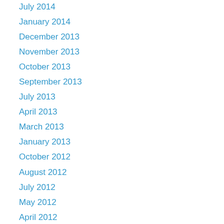July 2014
January 2014
December 2013
November 2013
October 2013
September 2013
July 2013
April 2013
March 2013
January 2013
October 2012
August 2012
July 2012
May 2012
April 2012
March 2012
February 2012
January 2012
December 2011